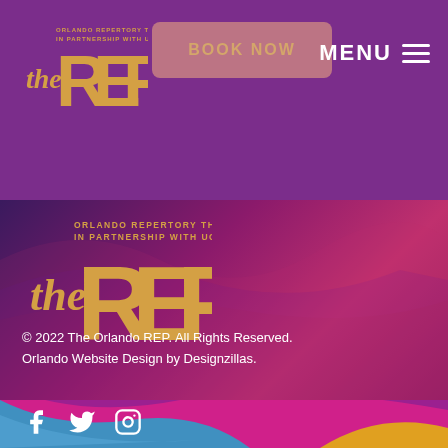[Figure (logo): The REP logo - Orlando Repertory Theatre in Partnership with UCF, top navigation bar with purple background]
[Figure (logo): BOOK NOW button with rounded rectangle, pinkish semi-transparent background]
[Figure (other): MENU text with hamburger icon lines, white text on purple background]
[Figure (illustration): Main content area with dark purple and magenta wavy background texture, The REP logo centered]
© 2022 The Orlando REP. All Rights Reserved.
Orlando Website Design by Designzillas.
[Figure (illustration): Bottom wave decoration with purple, magenta, blue, and orange/gold curved wave shapes]
[Figure (other): Social media icons: Facebook, Twitter, Instagram in white on blue/teal background]